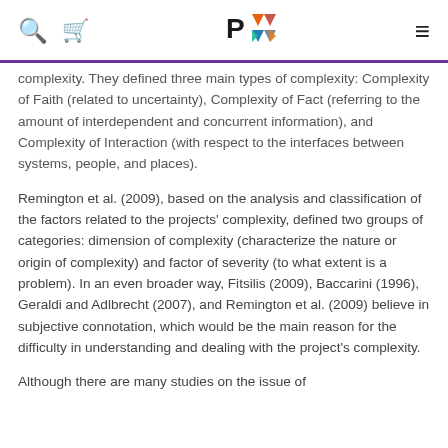PMI logo with search, cart, and menu icons
complexity. They defined three main types of complexity: Complexity of Faith (related to uncertainty), Complexity of Fact (referring to the amount of interdependent and concurrent information), and Complexity of Interaction (with respect to the interfaces between systems, people, and places).
Remington et al. (2009), based on the analysis and classification of the factors related to the projects' complexity, defined two groups of categories: dimension of complexity (characterize the nature or origin of complexity) and factor of severity (to what extent is a problem). In an even broader way, Fitsilis (2009), Baccarini (1996), Geraldi and Adlbrecht (2007), and Remington et al. (2009) believe in subjective connotation, which would be the main reason for the difficulty in understanding and dealing with the project's complexity.
Although there are many studies on the issue of